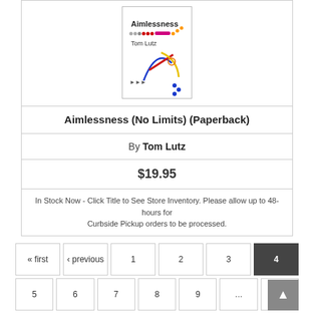[Figure (illustration): Book cover of 'Aimlessness' by Tom Lutz, featuring colorful abstract lines and dots on a white background, part of the No Limits series.]
Aimlessness (No Limits) (Paperback)
By Tom Lutz
$19.95
In Stock Now - Click Title to See Store Inventory. Please allow up to 48-hours for Curbside Pickup orders to be processed.
« first
‹ previous
1
2
3
4
5
6
7
8
9
...
next ›